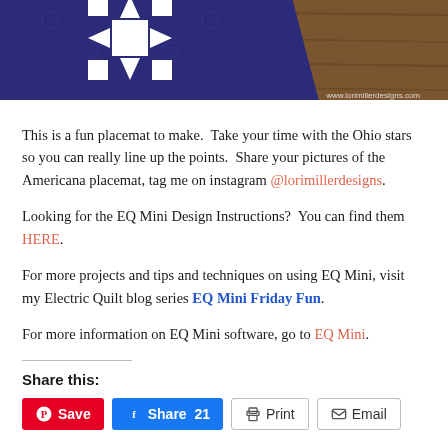[Figure (photo): Photo of a blue quilt placemat with white Ohio star pattern on a wooden surface, with watermark www.lorimillerdesigns.com]
This is a fun placemat to make.  Take your time with the Ohio stars so you can really line up the points.  Share your pictures of the Americana placemat, tag me on instagram @lorimillerdesigns.
Looking for the EQ Mini Design Instructions?  You can find them HERE.
For more projects and tips and techniques on using EQ Mini, visit my Electric Quilt blog series EQ Mini Friday Fun.
For more information on EQ Mini software, go to EQ Mini.
Share this:
Save | Share 21 | Print | Email